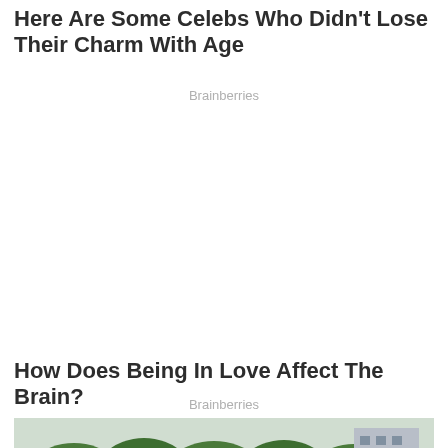Here Are Some Celebs Who Didn't Lose Their Charm With Age
Brainberries
How Does Being In Love Affect The Brain?
Brainberries
[Figure (photo): A young Asian woman with reddish-brown hair, wearing a light blue top, smiling outdoors with green trees and a building in the background.]